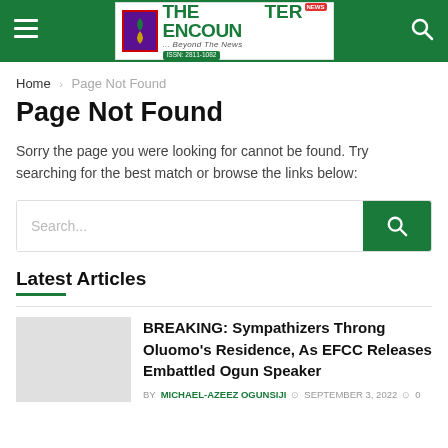The Encounter News — Beyond The News
Home › Page Not Found
Page Not Found
Sorry the page you were looking for cannot be found. Try searching for the best match or browse the links below:
Latest Articles
BREAKING: Sympathizers Throng Oluomo's Residence, As EFCC Releases Embattled Ogun Speaker
BY MICHAEL-AZEEZ OGUNSIJI  SEPTEMBER 3, 2022  0